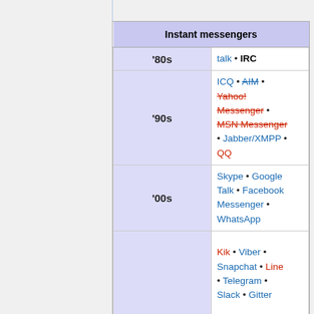| Instant messengers |
| --- |
| '80s | talk • IRC |
| '90s | ICQ • AIM • Yahoo! Messenger • MSN Messenger • Jabber/XMPP • QQ |
| '00s | Skype • Google Talk • Facebook Messenger • WhatsApp |
| '10s | Kik • Viber • Snapchat • Line • Telegram • Slack • Gitter |